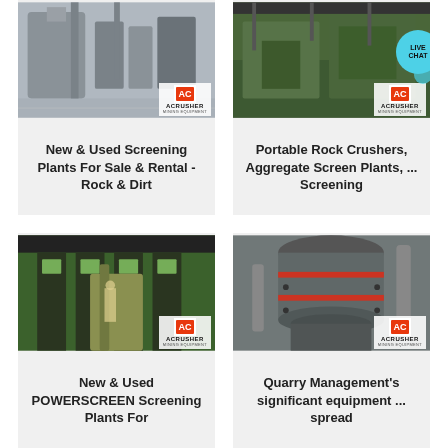[Figure (photo): Industrial screening plant facility with large tanks and pipes, ACRUSHER logo overlay]
New & Used Screening Plants For Sale & Rental - Rock & Dirt
[Figure (photo): Portable rock crusher equipment inside warehouse, ACRUSHER logo and LIVE CHAT bubble overlay]
Portable Rock Crushers, Aggregate Screen Plants, ... Screening
[Figure (photo): Green-lit industrial factory with equipment and workers, ACRUSHER logo overlay]
New & Used POWERSCREEN Screening Plants For
[Figure (photo): Gray industrial crusher machinery close-up, ACRUSHER logo overlay]
Quarry Management's significant equipment ... spread